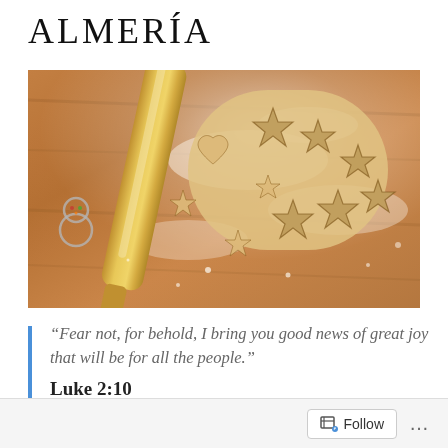Almería
[Figure (photo): Overhead view of cookie dough being cut into star, heart, and tree shapes on a floured wooden surface, with a rolling pin and snowman cookie cutters visible.]
“Fear not, for behold, I bring you good news of great joy that will be for all the people.”
Luke 2:10
Follow ...